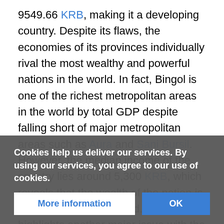9549.66 KRB, making it a developing country. Despite its flaws, the economies of its provinces individually rival the most wealthy and powerful nations in the world. In fact, Bingol is one of the richest metropolitan areas in the world by total GDP despite falling short of major metropolitan areas such as Aura and Sani Bursil. However, the median income of the country lies around 5,300 KRB, which reveals that the wealth of the nation is very unevenly distributed. This highlights another major issue with the Packilvanian economy: gaping caste and geographic structural inequalities. Regardless, compared to most developing countries incomes, especially among its province is surprisingly evenly spread.
Packilvanian has an unemployment rate of 14% and a labour participation rate of 93%. This difference in unemployment ... arises because